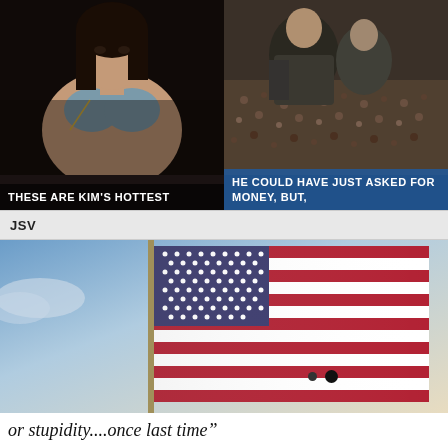[Figure (photo): Woman in bikini top, dark background]
THESE ARE KIM'S HOTTEST
[Figure (photo): Person in crowd at large event]
HE COULD HAVE JUST ASKED FOR MONEY, BUT,
JSV
[Figure (photo): American flag waving against blue sky background]
or stupidity....once last time"